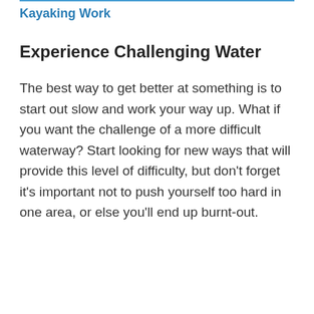Kayaking Work
Experience Challenging Water
The best way to get better at something is to start out slow and work your way up. What if you want the challenge of a more difficult waterway? Start looking for new ways that will provide this level of difficulty, but don't forget it's important not to push yourself too hard in one area, or else you'll end up burnt-out.